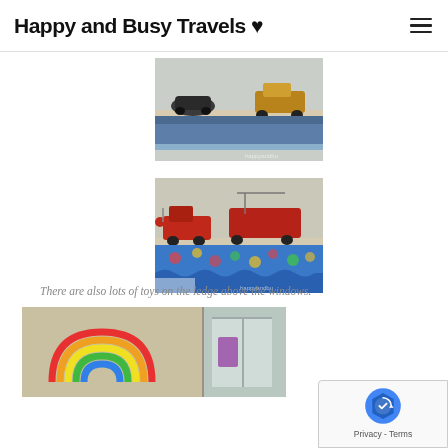Happy and Busy Travels ♥
[Figure (photo): Photo of vintage toy cars/vehicles on a shelf with a blue wallpaper border below, watermark 'happyandbu' visible in corner]
[Figure (photo): Photo of vintage red fire truck toys on a shelf above colorful floral curtain/valance, watermark 'happyandbu' visible]
There are also lots of toys on the ledge above the windows.
[Figure (photo): Photo showing toys on ledge above windows including a rainbow arch toy and other items, partially visible]